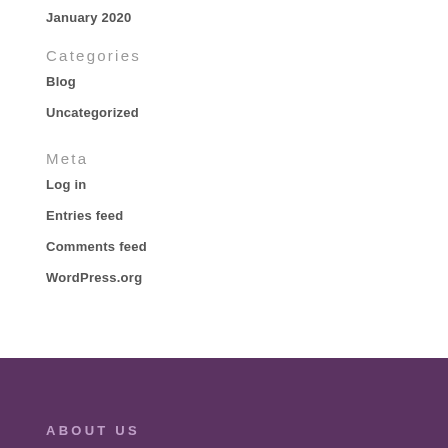January 2020
Categories
Blog
Uncategorized
Meta
Log in
Entries feed
Comments feed
WordPress.org
ABOUT US